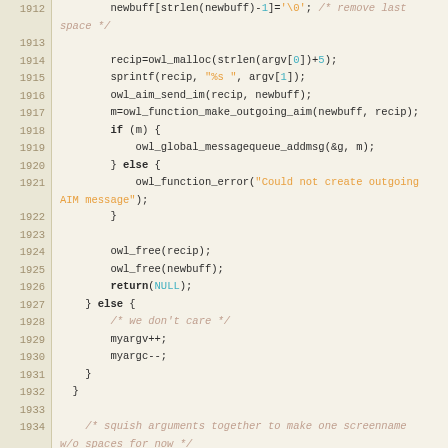[Figure (screenshot): Source code viewer showing C code lines 1912-1941 with syntax highlighting on a tan/beige background. Line numbers shown in left gutter. Keywords in bold, strings in orange, numeric literals and special values in cyan, comments in light brown italic.]